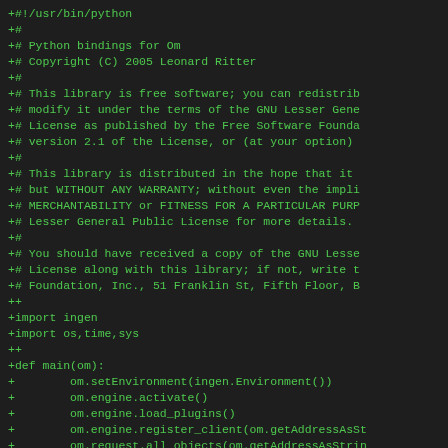+#!/usr/bin/python
+#
+# Python bindings for Om
+# Copyright (C) 2005 Leonard Ritter
+#
+# This library is free software; you can redistrib
+# modify it under the terms of the GNU Lesser Gene
+# License as published by the Free Software Founda
+# version 2.1 of the License, or (at your option)
+#
+# This library is distributed in the hope that it
+# but WITHOUT ANY WARRANTY; without even the impli
+# MERCHANTABILITY or FITNESS FOR A PARTICULAR PURP
+# Lesser General Public License for more details.
+#
+# You should have received a copy of the GNU Lesse
+# License along with this library; if not, write t
+# Foundation, Inc., 51 Franklin St, Fifth Floor, B
++
+import ingen
+import os,time,sys
++
+def main(om):
+        om.setEnvironment(ingen.Environment())
+        om.engine.activate()
+        om.engine.load_plugins()
+        om.engine.register_client(om.getAddressAsSt
+        om.request.all_objects(om.getAddressAsStrin
+        om.synth.create_patch("/silly_sine", 1)
+        om.synth.create_node("/silly_sine/output",